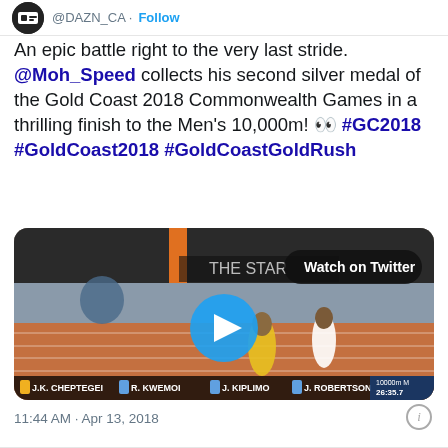@DAZN_CA · Follow
An epic battle right to the very last stride. @Moh_Speed collects his second silver medal of the Gold Coast 2018 Commonwealth Games in a thrilling finish to the Men's 10,000m! 👀 #GC2018 #GoldCoast2018 #GoldCoastGoldRush
[Figure (screenshot): Video thumbnail of runners on a track at the Gold Coast 2018 Commonwealth Games 10000m M event, showing athletes J.K. Cheptegei, R. Kwemoi, J. Kiplimo, J. Robertson, with a play button overlay and 'Watch on Twitter' label. Time shows 26:35.7]
11:44 AM · Apr 13, 2018